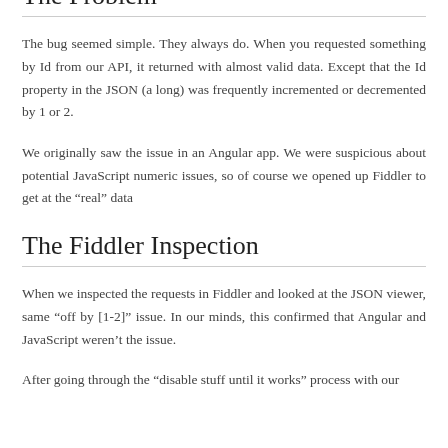entertaining read. Check it out.
The Problem
The bug seemed simple. They always do. When you requested something by Id from our API, it returned with almost valid data. Except that the Id property in the JSON (a long) was frequently incremented or decremented by 1 or 2.
We originally saw the issue in an Angular app. We were suspicious about potential JavaScript numeric issues, so of course we opened up Fiddler to get at the “real” data
The Fiddler Inspection
When we inspected the requests in Fiddler and looked at the JSON viewer, same “off by [1-2]” issue. In our minds, this confirmed that Angular and JavaScript weren’t the issue.
After going through the “disable stuff until it works” process with our